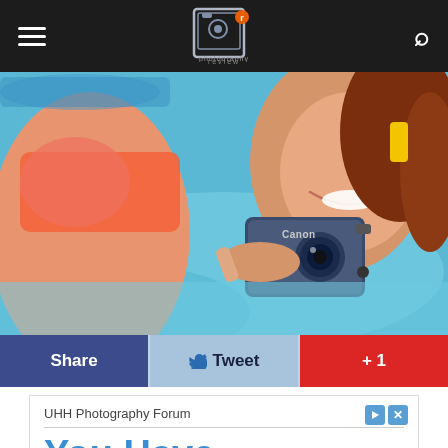photography review navigation bar with hamburger menu, logo, and search icon
[Figure (photo): Two people in a swimming pool, one in an orange bikini top and one holding a Canon waterproof compact camera toward the viewer, smiling selfie-style]
Share
Tweet
+ 1
UHH Photography Forum
You Have (1) Message